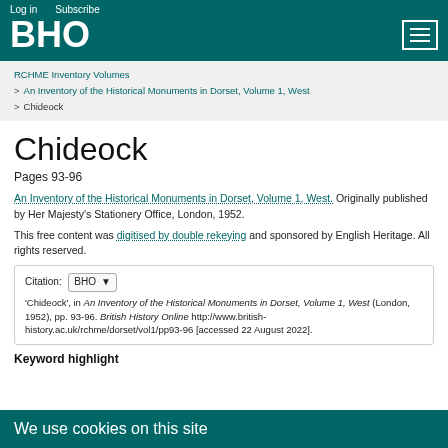Log in  Subscribe
BHO
RCHME Inventory Volumes > An Inventory of the Historical Monuments in Dorset, Volume 1, West > Chideock
Chideock
Pages 93-96
An Inventory of the Historical Monuments in Dorset, Volume 1, West. Originally published by Her Majesty's Stationery Office, London, 1952.
This free content was digitised by double rekeying and sponsored by English Heritage. All rights reserved.
Citation: BHO ▾ 'Chideock', in An Inventory of the Historical Monuments in Dorset, Volume 1, West (London, 1952), pp. 93-96. British History Online http://www.british-history.ac.uk/rchme/dorset/vol1/pp93-96 [accessed 22 August 2022].
Keyword highlight
We use cookies on this site